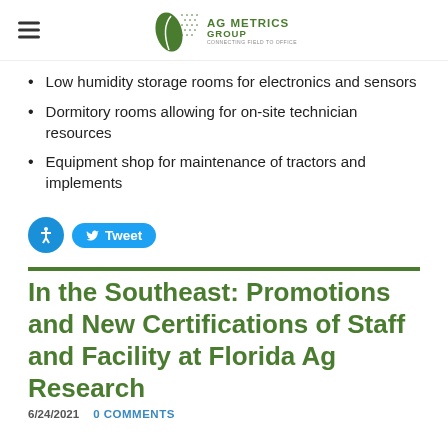AG METRICS GROUP
Low humidity storage rooms for electronics and sensors
Dormitory rooms allowing for on-site technician resources
Equipment shop for maintenance of tractors and implements
In the Southeast: Promotions and New Certifications of Staff and Facility at Florida Ag Research
6/24/2021   0 COMMENTS